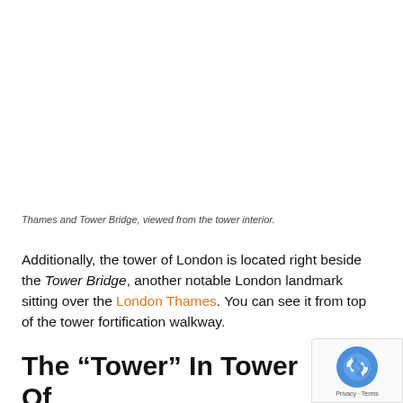Thames and Tower Bridge, viewed from the tower interior.
Additionally, the tower of London is located right beside the Tower Bridge, another notable London landmark sitting over the London Thames. You can see it from top of the tower fortification walkway.
The “Tower” In Tower Of